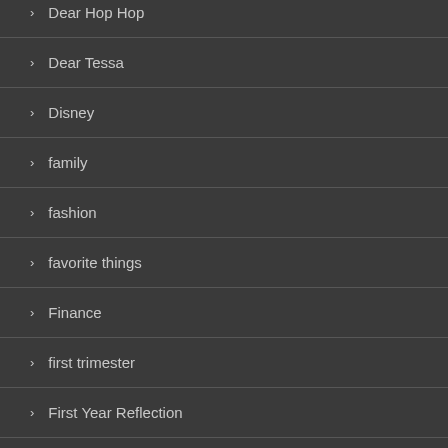Dear Hop Hop
Dear Tessa
Disney
family
fashion
favorite things
Finance
first trimester
First Year Reflection
food
giveaways
health